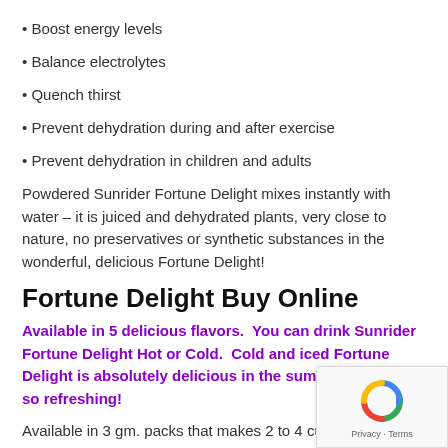• Boost energy levels
• Balance electrolytes
• Quench thirst
• Prevent dehydration during and after exercise
• Prevent dehydration in children and adults
Powdered Sunrider Fortune Delight mixes instantly with water – it is juiced and dehydrated plants, very close to nature, no preservatives or synthetic substances in the wonderful, delicious Fortune Delight!
Fortune Delight Buy Online
Available in 5 delicious flavors.  You can drink Sunrider Fortune Delight Hot or Cold.  Cold and iced Fortune Delight is absolutely delicious in the summer heat, and so refreshing!
Available in 3 gm. packs that makes 2 to 4 cups, depending on how strong your body likes it.
* Original
* Lemon
* Peach
* Raspberry